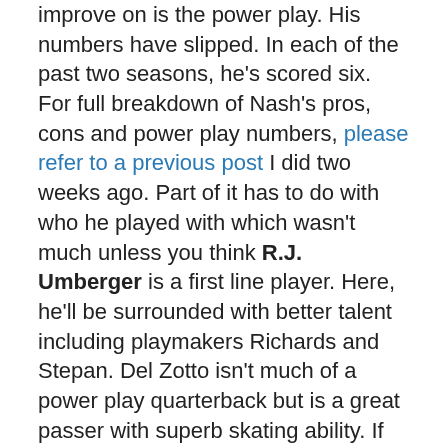improve on is the power play. His numbers have slipped. In each of the past two seasons, he's scored six. For full breakdown of Nash's pros, cons and power play numbers, please refer to a previous post I did two weeks ago. Part of it has to do with who he played with which wasn't much unless you think R.J. Umberger is a first line player. Here, he'll be surrounded with better talent including playmakers Richards and Stepan. Del Zotto isn't much of a power play quarterback but is a great passer with superb skating ability. If there's one thing the team still lacks, it's a true No.1 defenseman who can run the man-advantage. Otherwise known as the powerless play. Hopefully, the combo of Gaborik and Nash along with Callahan will drastically improve our output.

At even strength, Nash only had seven more points than Artem Anisimov. He probably won't be as solid overall as